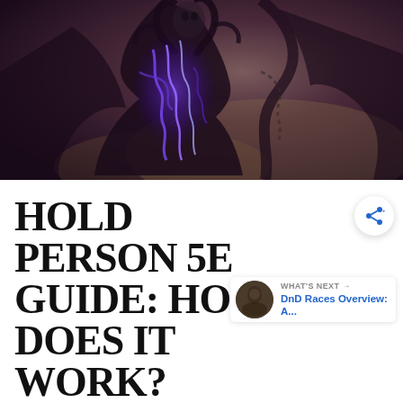[Figure (illustration): Dark fantasy creature with antler-like horns and swirling purple/blue arcane energy, rendered in a painterly fantasy art style against a dark brownish-purple background.]
HOLD PERSON 5E GUIDE: HOW DOES IT WORK?
Gameplay / By Ethan Scaife